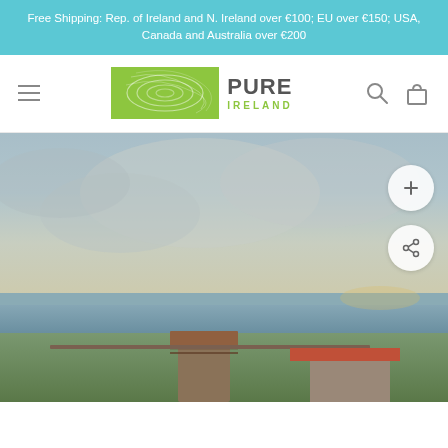Free Shipping: Rep. of Ireland and N. Ireland over €100; EU over €150; USA, Canada and Australia over €200
[Figure (logo): Pure Ireland logo with green box containing spiral design and text PURE IRELAND]
[Figure (photo): Irish landscape painting showing rural buildings with red roof near water under a cloudy blue-grey sky, with green foreground and stone structures]